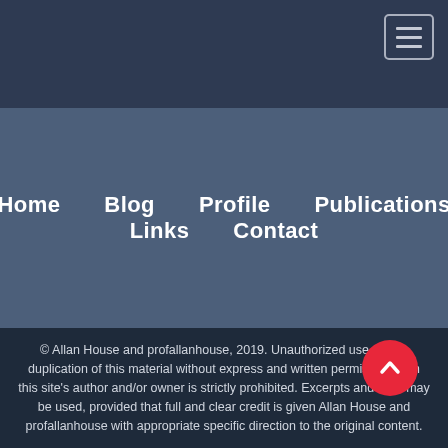Navigation menu with hamburger icon
Home
Blog
Profile
Publications
Links
Contact
© Allan House and profallanhouse, 2019. Unauthorized use and/or duplication of this material without express and written permission from this site's author and/or owner is strictly prohibited. Excerpts and links may be used, provided that full and clear credit is given Allan House and profallanhouse with appropriate specific direction to the original content.